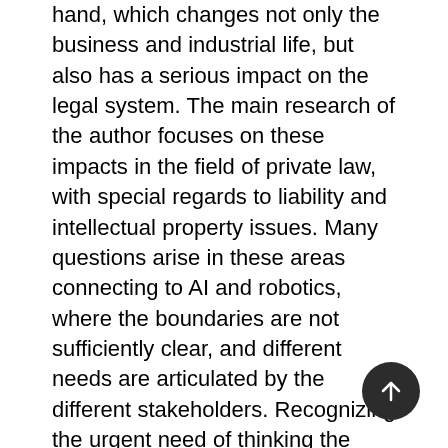hand, which changes not only the business and industrial life, but also has a serious impact on the legal system. The main research of the author focuses on these impacts in the field of private law, with special regards to liability and intellectual property issues. Many questions arise in these areas connecting to AI and robotics, where the boundaries are not sufficiently clear, and different needs are articulated by the different stakeholders. Recognizing the urgent need of thinking the Committee on Legal Affairs of the European Parliament adopted a Motion for a European Parliament Resolution A8-0005/2017 (of January 27th, 2017) in order to take some recommendations to the Commission on civil law rules on robotics and AI. This document defines some crucial usage of AI and/or robotics, e.g. the field of autonomous vehicles, the human job replacement in the industry or smart applications and machines. It